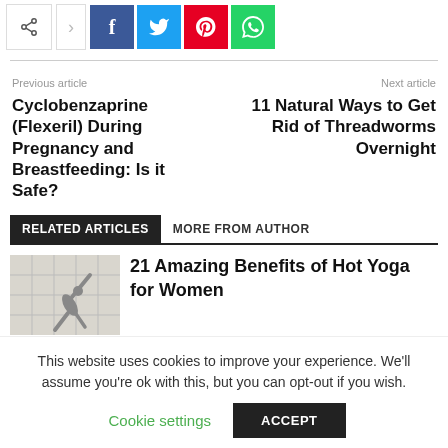[Figure (other): Social share bar with share icon, arrow, Facebook, Twitter, Pinterest, and WhatsApp buttons]
Previous article
Next article
Cyclobenzaprine (Flexeril) During Pregnancy and Breastfeeding: Is it Safe?
11 Natural Ways to Get Rid of Threadworms Overnight
RELATED ARTICLES   MORE FROM AUTHOR
[Figure (photo): Thumbnail image of a person doing yoga (hot yoga for women article)]
21 Amazing Benefits of Hot Yoga for Women
This website uses cookies to improve your experience. We'll assume you're ok with this, but you can opt-out if you wish.
Cookie settings   ACCEPT